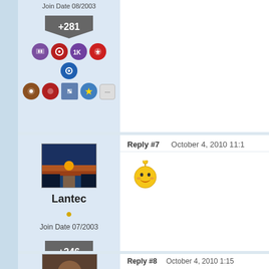Join Date 08/2003
+281
[Figure (infographic): Badge icons row 1 and row 2 for previous user]
Reply #7    October 4, 2010 11:1
[Figure (illustration): Sunset avatar photo for user Lantec]
Lantec
•
Join Date 07/2003
+346
[Figure (infographic): Wizop rank badge with green dragon icon]
[Figure (infographic): Badge icons rows 1 and 2 for Lantec]
[Figure (illustration): Smiley emoji with antenna in reply content area]
Reply #8    October 4, 2010 1:15
[Figure (photo): Partial user avatar at bottom of page]